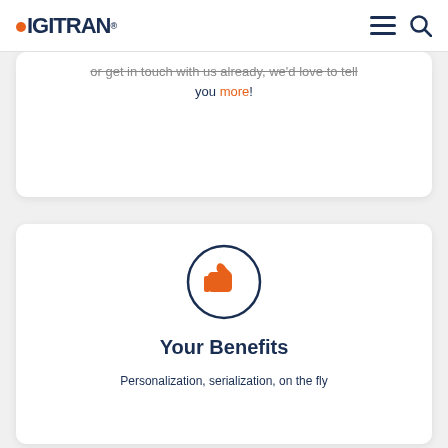DIGITRAN®
or get in touch with us already, we'd love to tell you more!
[Figure (illustration): Thumbs up icon inside a dark navy circle outline, orange colored thumbs up symbol]
Your Benefits
Personalization, serialization, on the fly